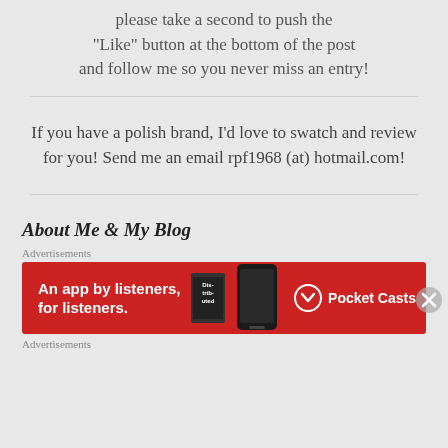please take a second to push the “Like” button at the bottom of the post and follow me so you never miss an entry!
If you have a polish brand, I’d love to swatch and review for you! Send me an email rpf1968 (at) hotmail.com!
About Me & My Blog
Advertisements
[Figure (other): Pocket Casts advertisement banner: red background with text 'An app by listeners, for listeners.' and Pocket Casts logo with phone image]
Advertisements